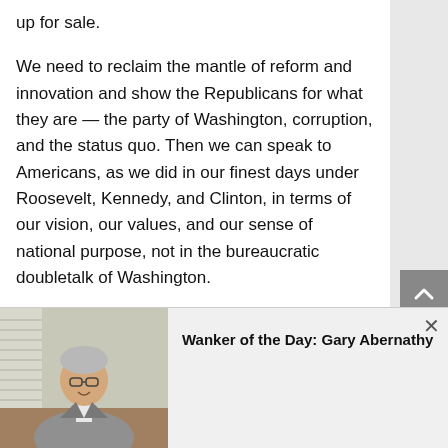up for sale.
We need to reclaim the mantle of reform and innovation and show the Republicans for what they are — the party of Washington, corruption, and the status quo. Then we can speak to Americans, as we did in our finest days under Roosevelt, Kennedy, and Clinton, in terms of our vision, our values, and our sense of national purpose, not in the bureaucratic doubletalk of Washington.
The American people deserve a Democratic Party that champions the values, interests, and safety of the broad middle class and all who aspire to join it. We can and will be a majority party again, but only if we do the hard work to earn the majority's trust. When we look at that map from Election Night 2004, it breaks our hearts to see America's
[Figure (photo): Photo of Gary Abernathy, a man in a grey blazer sitting at a desk in an office]
Wanker of the Day: Gary Abernathy